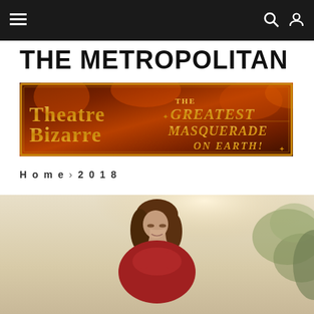Navigation bar with menu, search, and user icons
THE METROPOLITAN
[Figure (illustration): Theatre Bizarre - The Greatest Masquerade on Earth! promotional banner with dark red/orange flame background and ornate gold lettering]
Home › 2018
[Figure (photo): Woman with long dark hair, wearing a red top, looking downward, with a warm cream/beige toned outdoor background and foliage on the right]